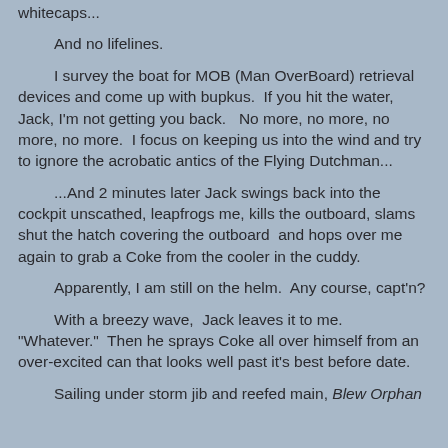whitecaps...
And no lifelines.
I survey the boat for MOB (Man OverBoard) retrieval devices and come up with bupkus.  If you hit the water, Jack, I'm not getting you back.   No more, no more, no more, no more.  I focus on keeping us into the wind and try to ignore the acrobatic antics of the Flying Dutchman...
...And 2 minutes later Jack swings back into the cockpit unscathed, leapfrogs me, kills the outboard, slams shut the hatch covering the outboard  and hops over me again to grab a Coke from the cooler in the cuddy.
Apparently, I am still on the helm.  Any course, capt'n?
With a breezy wave,  Jack leaves it to me. "Whatever."  Then he sprays Coke all over himself from an over-excited can that looks well past it's best before date.
Sailing under storm jib and reefed main, Blew Orphan